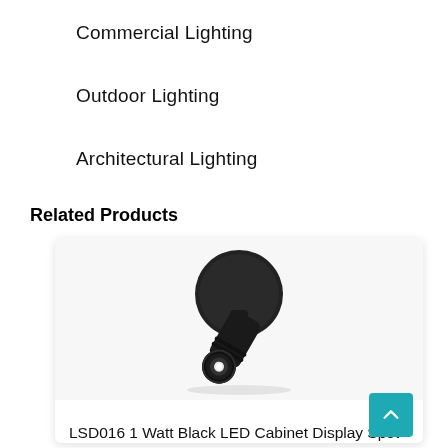Commercial Lighting
Outdoor Lighting
Architectural Lighting
Related Products
[Figure (photo): Black LED cabinet display spot light fixture mounted on a round base, angled downward, with visible LED lens at the end of the cylindrical barrel.]
LSD016 1 Watt Black LED Cabinet Display Spot Light